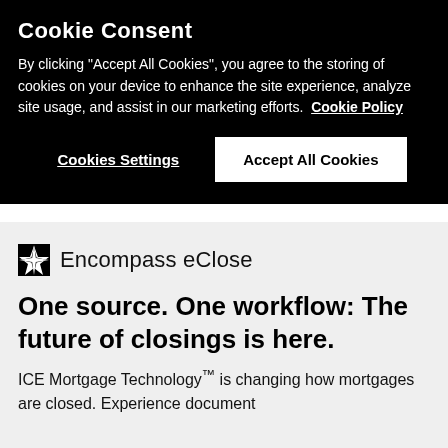Cookie Consent
By clicking "Accept All Cookies", you agree to the storing of cookies on your device to enhance the site experience, analyze site usage, and assist in our marketing efforts.  Cookie Policy
Cookies Settings | Accept All Cookies
[Figure (logo): Encompass eClose logo with four-pointed star icon]
One source. One workflow: The future of closings is here.
ICE Mortgage Technology™ is changing how mortgages are closed. Experience document